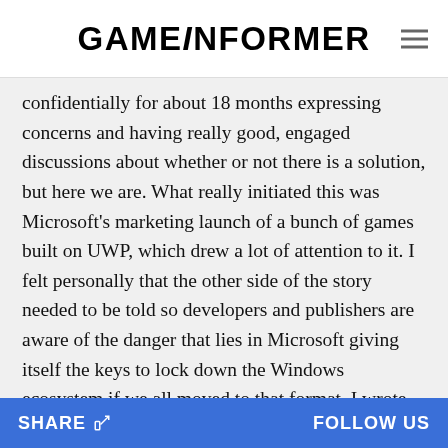GAMEINFORMER
confidentially for about 18 months expressing concerns and having really good, engaged discussions about whether or not there is a solution, but here we are. What really initiated this was Microsoft's marketing launch of a bunch of games built on UWP, which drew a lot of attention to it. I felt personally that the other side of the story needed to be told so developers and publishers are aware of the danger that lies in Microsoft giving itself the keys to lock down the Windows ecosystem if we all moved to that format. I wrote the editorial to really point out the dangers and to suggest a path forward that averts those dangers. If Microsoft opens it up, that
SHARE   FOLLOW US